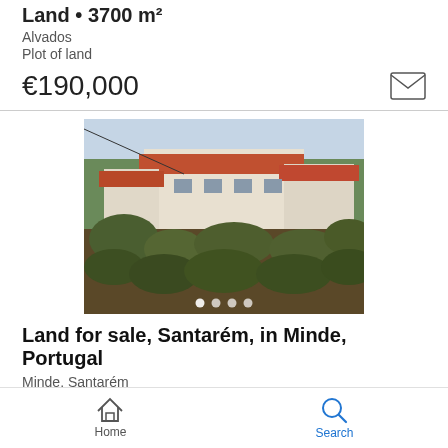Land • 3700 m²
Alvados
Plot of land
€190,000
[Figure (photo): Photograph of a plot of land with wild vegetation in the foreground and white buildings with red-tiled roofs in the background, surrounded by trees.]
Land for sale, Santarém, in Minde, Portugal
Minde, Santarém
Plot • 2160 m²
Home    Search